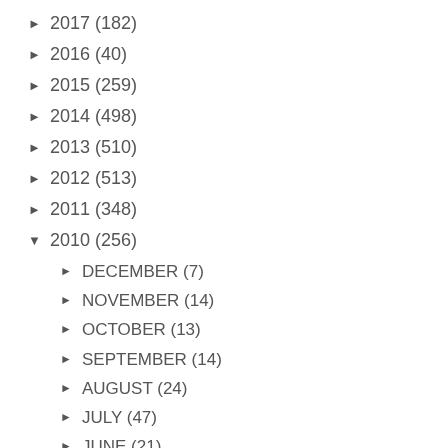► 2017 (182)
► 2016 (40)
► 2015 (259)
► 2014 (498)
► 2013 (510)
► 2012 (513)
► 2011 (348)
▼ 2010 (256)
► DECEMBER (7)
► NOVEMBER (14)
► OCTOBER (13)
► SEPTEMBER (14)
► AUGUST (24)
► JULY (47)
► JUNE (21)
▼ MAY (27)